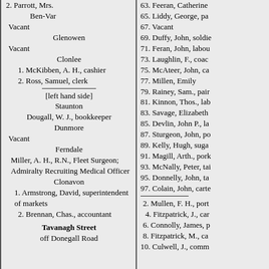2. Parrott, Mrs.
Ben-Var
Vacant
Glenowen
Vacant
Clonlee
1. McKibben, A. H., cashier
2. Ross, Samuel, clerk
[left hand side]
Staunton
Dougall, W. J., bookkeeper
Dunmore
Vacant
Ferndale
Miller, A. H., R.N., Fleet Surgeon; Admiralty Recruiting Medical Officer
Clonavon
1. Armstrong, David, superintendent of markets
2. Brennan, Chas., accountant
Tavanagh Street
off Donegall Road
63. Feeran, Catherine
65. Liddy, George, pa
67. Vacant
69. Duffy, John, soldie
71. Feran, John, labou
73. Laughlin, F., coac
75. McAteer, John, ca
77. Millen, Emily
79. Rainey, Sam., pair
81. Kinnon, Thos., lab
83. Savage, Elizabeth
85. Devlin, John P., la
87. Sturgeon, John, po
89. Kelly, Hugh, suga
91. Magill, Arth., pork
93. McNally, Peter, tai
95. Donnelly, John, ta
97. Colain, John, carte
2. Mullen, F. H., port
4. Fitzpatrick, J., car
6. Connolly, James, p
8. Fitzpatrick, M., ca
10. Culwell, J., comm